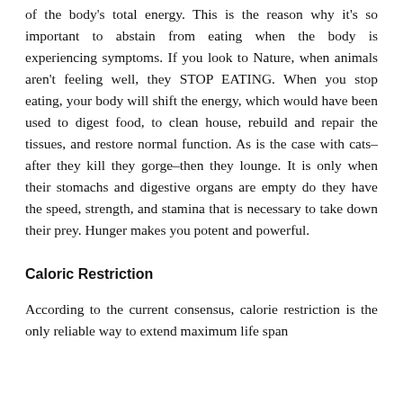of the body's total energy. This is the reason why it's so important to abstain from eating when the body is experiencing symptoms. If you look to Nature, when animals aren't feeling well, they STOP EATING. When you stop eating, your body will shift the energy, which would have been used to digest food, to clean house, rebuild and repair the tissues, and restore normal function. As is the case with cats–after they kill they gorge–then they lounge. It is only when their stomachs and digestive organs are empty do they have the speed, strength, and stamina that is necessary to take down their prey. Hunger makes you potent and powerful.
Caloric Restriction
According to the current consensus, calorie restriction is the only reliable way to extend maximum life span